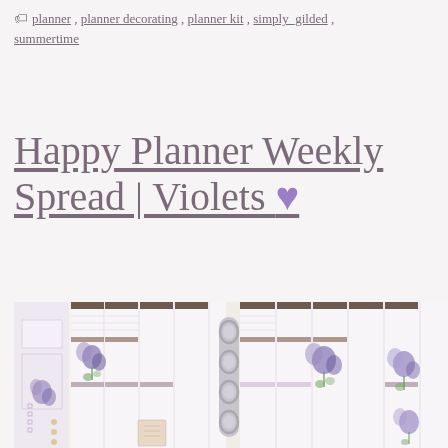🏷 planner, planner decorating, planner kit, simply_gilded, summertime
Happy Planner Weekly Spread | Violets 💜
[Figure (photo): An open Happy Planner ring binder showing weekly spread pages decorated with violet/purple floral stickers and washi tape strips in purple, brown and grey tones. The planner is photographed at an angle showing both left and right pages through the ring binding.]